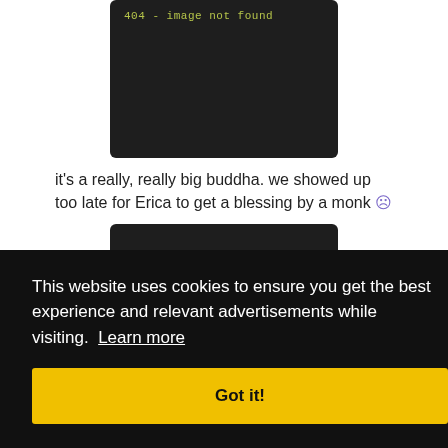[Figure (screenshot): Dark image placeholder with '404 - image not found' text at top left in monospace yellow-green font]
it's a really, really big buddha. we showed up too late for Erica to get a blessing by a monk ☹
[Figure (screenshot): Dark image placeholder with '404 - image not found' text at bottom left in monospace yellow-green font]
...both
[Figure (screenshot): Dark image placeholder with '404 - image not found' text at bottom left in monospace yellow-green font (partially visible at bottom)]
This website uses cookies to ensure you get the best experience and relevant advertisements while visiting. Learn more
Got it!